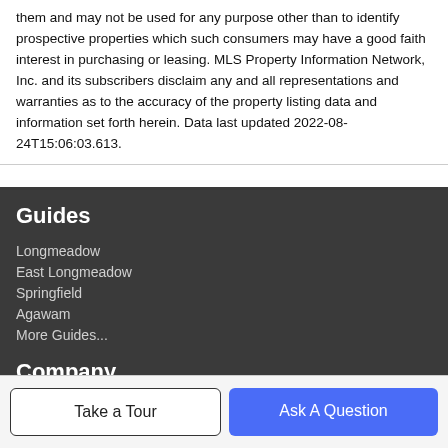them and may not be used for any purpose other than to identify prospective properties which such consumers may have a good faith interest in purchasing or leasing. MLS Property Information Network, Inc. and its subscribers disclaim any and all representations and warranties as to the accuracy of the property listing data and information set forth herein. Data last updated 2022-08-24T15:06:03.613.
Guides
Longmeadow
East Longmeadow
Springfield
Agawam
More Guides...
Company
Take a Tour
Ask A Question